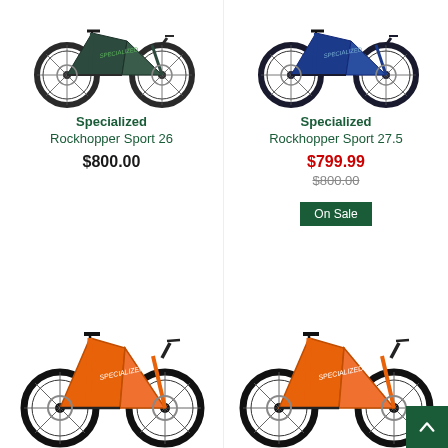[Figure (photo): Specialized Rockhopper Sport 26 mountain bike in dark gray/green color, left side view]
[Figure (photo): Specialized Rockhopper Sport 27.5 mountain bike in blue color, left side view]
Specialized
Rockhopper Sport 26
$800.00
Specialized
Rockhopper Sport 27.5
$799.99
$800.00
On Sale
[Figure (photo): Specialized mountain bike in orange color, left side view]
[Figure (photo): Specialized mountain bike in orange color, left side view, slightly different angle]